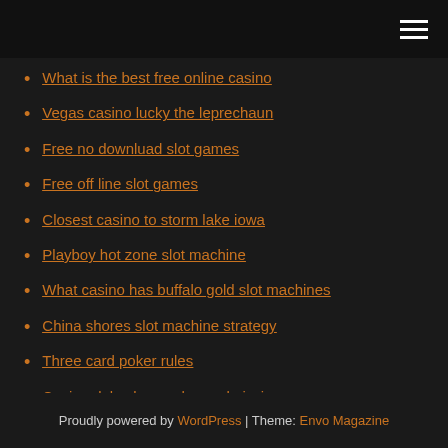[hamburger menu icon]
What is the best free online casino
Vegas casino lucky the leprechaun
Free no downluad slot games
Free off line slot games
Closest casino to storm lake iowa
Playboy hot zone slot machine
What casino has buffalo gold slot machines
China shores slot machine strategy
Three card poker rules
Casino del sol gem show admission
Casino ship out of port canaveral
Proudly powered by WordPress | Theme: Envo Magazine